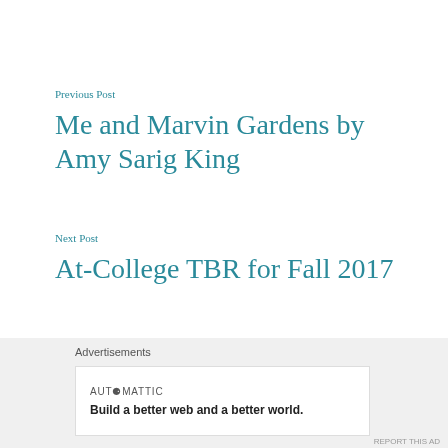Previous Post
Me and Marvin Gardens by Amy Sarig King
Next Post
At-College TBR for Fall 2017
Advertisements
AUTOMATTIC
Build a better web and a better world.